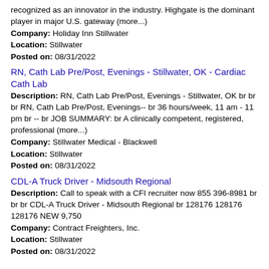recognized as an innovator in the industry. Highgate is the dominant player in major U.S. gateway (more...)
Company: Holiday Inn Stillwater
Location: Stillwater
Posted on: 08/31/2022
RN, Cath Lab Pre/Post, Evenings - Stillwater, OK - Cardiac Cath Lab
Description: RN, Cath Lab Pre/Post, Evenings - Stillwater, OK br br br RN, Cath Lab Pre/Post, Evenings-- br 36 hours/week, 11 am - 11 pm br -- br JOB SUMMARY: br A clinically competent, registered, professional (more...)
Company: Stillwater Medical - Blackwell
Location: Stillwater
Posted on: 08/31/2022
CDL-A Truck Driver - Midsouth Regional
Description: Call to speak with a CFI recruiter now 855 396-8981 br br br CDL-A Truck Driver - Midsouth Regional br 128176 128176 128176 NEW 9,750
Company: Contract Freighters, Inc.
Location: Stillwater
Posted on: 08/31/2022